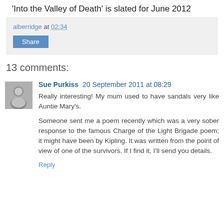'Into the Valley of Death' is slated for June 2012
alberridge at 02:34
13 comments:
Sue Purkiss 20 September 2011 at 08:29
Really interesting! My mum used to have sandals very like Auntie Mary's.

Someone sent me a poem recently which was a very sober response to the famous Charge of the Light Brigade poem; it might have been by Kipling. It was written from the point of view of one of the survivors. If I find it, I'll send you details.
Reply